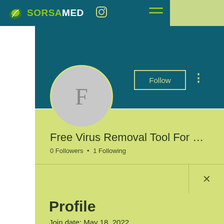[Figure (logo): SorsaMed logo with leaf icon and text SORSAMED, plus Instagram icon and hamburger menu in navigation bar]
[Figure (illustration): User avatar circle with letter F on teal profile background with Follow button and three-dots menu]
Free Virus Removal Tool For …
0 Followers • 1 Following
Profile
Join date: May 18, 2022
About